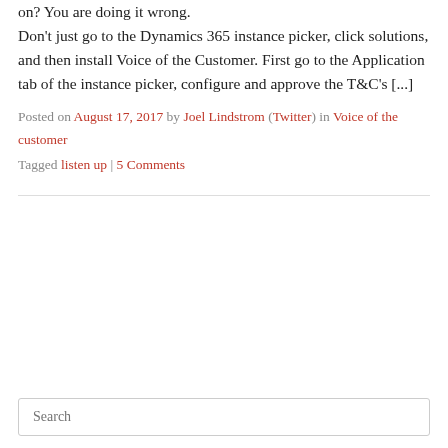on? You are doing it wrong. Don't just go to the Dynamics 365 instance picker, click solutions, and then install Voice of the Customer. First go to the Application tab of the instance picker, configure and approve the T&C's [...]
Posted on August 17, 2017 by Joel Lindstrom (Twitter) in Voice of the customer
Tagged listen up | 5 Comments